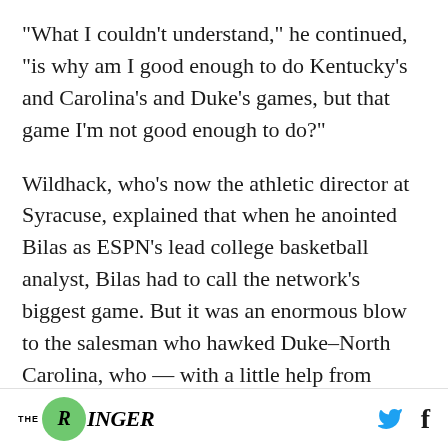"What I couldn't understand," he continued, "is why am I good enough to do Kentucky's and Carolina's and Duke's games, but that game I'm not good enough to do?"
Wildhack, who's now the athletic director at Syracuse, explained that when he anointed Bilas as ESPN's lead college basketball analyst, Bilas had to call the network's biggest game. But it was an enormous blow to the salesman who hawked Duke–North Carolina, who — with a little help from Michael Jordan and Christian Laettner —
THE RINGER